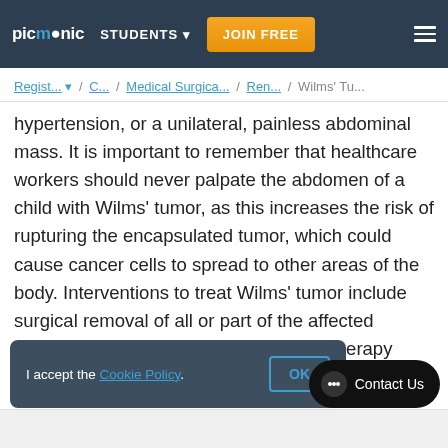Picmonic | STUDENTS | JOIN FREE
Regist... / C... / Medical Surgica... / Ren... / Wilms' Tu...
hypertension, or a unilateral, painless abdominal mass. It is important to remember that healthcare workers should never palpate the abdomen of a child with Wilms’ tumor, as this increases the risk of rupturing the encapsulated tumor, which could cause cancer cells to spread to other areas of the body. Interventions to treat Wilms’ tumor include surgical removal of all or part of the affected kidney(s), pre- or postoperative chemotherapy treatments, and postoperative radiation.
I accept the Cookie Policy.
OK
Contact Us